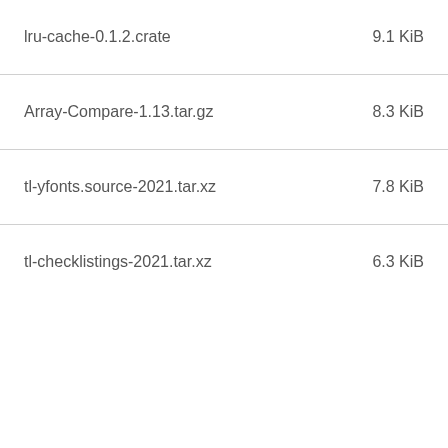lru-cache-0.1.2.crate   9.1 KiB
Array-Compare-1.13.tar.gz   8.3 KiB
tl-yfonts.source-2021.tar.xz   7.8 KiB
tl-checklistings-2021.tar.xz   6.3 KiB